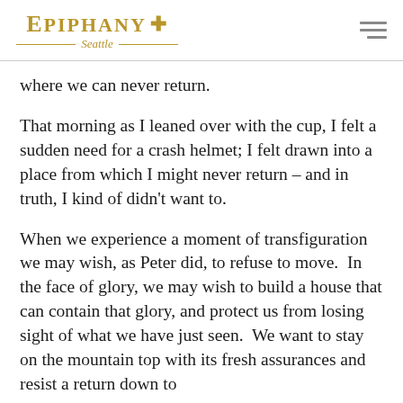Epiphany Seattle
where we can never return.
That morning as I leaned over with the cup, I felt a sudden need for a crash helmet; I felt drawn into a place from which I might never return – and in truth, I kind of didn't want to.
When we experience a moment of transfiguration we may wish, as Peter did, to refuse to move.  In the face of glory, we may wish to build a house that can contain that glory, and protect us from losing sight of what we have just seen.  We want to stay on the mountain top with its fresh assurances and resist a return down to